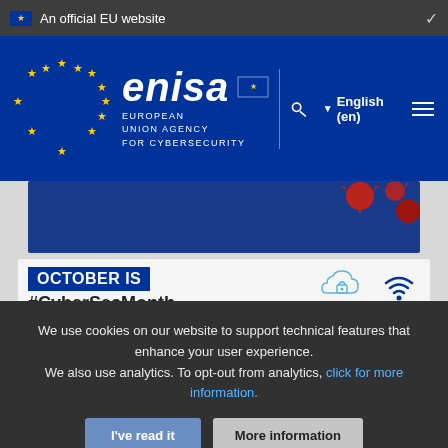An official EU website
[Figure (logo): ENISA - European Union Agency for Cybersecurity logo with EU flag stars circle on blue background, navigation with search, language selector (English (en)) and hamburger menu]
[Figure (screenshot): Screenshot of ENISA website showing virus/COVID particles on blue background and a card with 'OCTOBER IS #CyberSecMonth #ThinkB4UClick' with cloud lock and wifi icons]
We use cookies on our website to support technical features that enhance your user experience. We also use analytics. To opt-out from analytics, click for more information.
I've read it
More information